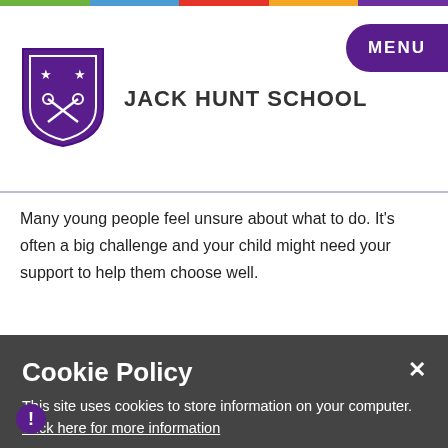[Figure (logo): Jack Hunt School shield logo with two crossed keys and stars, purple and white]
JACK HUNT SCHOOL
Many young people feel unsure about what to do. It's often a big challenge and your child might need your support to help them choose well.
ABOUT POST-16 OPTIONS
Cookie Policy
This site uses cookies to store information on your computer. Click here for more information
Allow Cookies   Cookie Settings